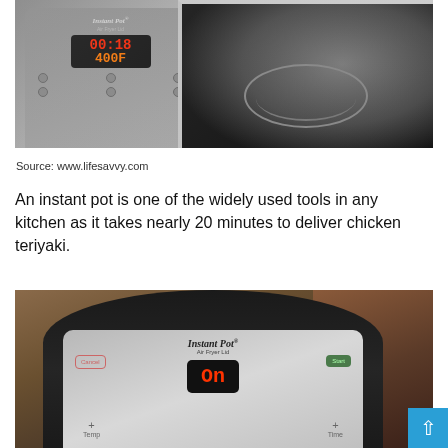[Figure (photo): Overhead view of an Instant Pot Air Fryer Lid with digital display showing 00:18 and 400F, alongside the open cooking vessel with a steamer basket inside, on a gray surface.]
Source: www.lifesavvy.com
An instant pot is one of the widely used tools in any kitchen as it takes nearly 20 minutes to deliver chicken teriyaki.
[Figure (photo): Close-up front view of an Instant Pot Air Fryer Lid with digital display showing 'On', Cancel button on the left, Start button on the right, Temp and Time controls, on a warm-toned background.]